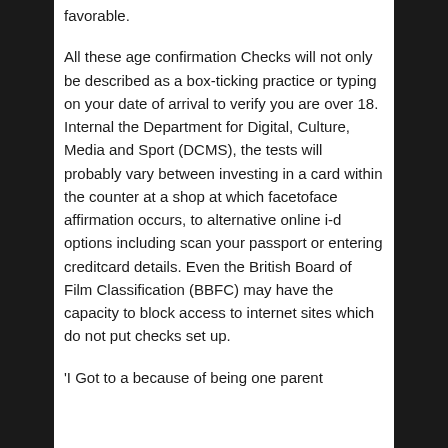favorable.
All these age confirmation Checks will not only be described as a box-ticking practice or typing on your date of arrival to verify you are over 18. Internal the Department for Digital, Culture, Media and Sport (DCMS), the tests will probably vary between investing in a card within the counter at a shop at which facetoface affirmation occurs, to alternative online i-d options including scan your passport or entering creditcard details. Even the British Board of Film Classification (BBFC) may have the capacity to block access to internet sites which do not put checks set up.
'I Got to a because of being one parent